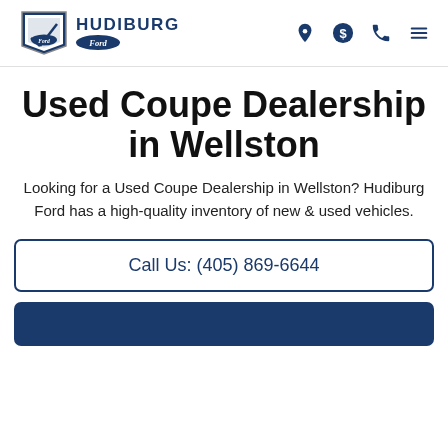Hudiburg Ford
Used Coupe Dealership in Wellston
Looking for a Used Coupe Dealership in Wellston? Hudiburg Ford has a high-quality inventory of new & used vehicles.
Call Us: (405) 869-6644
Browse All Used C...